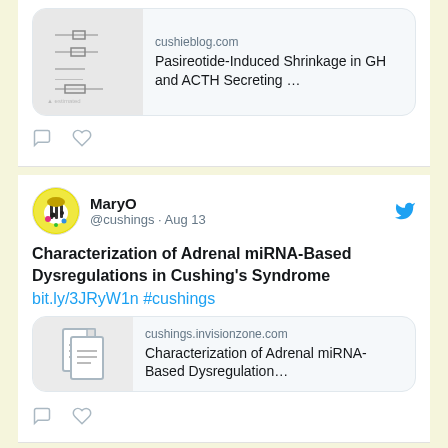[Figure (screenshot): Partial tweet card showing a link preview for cushieblog.com article 'Pasireotide-Induced Shrinkage in GH and ACTH Secreting ...' with a thumbnail of a forest plot chart and comment/like icons below.]
[Figure (screenshot): Tweet by MaryO (@cushings · Aug 13) with Twitter bird icon, text 'Characterization of Adrenal miRNA-Based Dysregulations in Cushing's Syndrome', link 'bit.ly/3JRyW1n #cushings', link preview card from cushings.invisionzone.com titled 'Characterization of Adrenal miRNA-Based Dysregulation...', and comment/like icons below.]
[Figure (screenshot): Partial tweet card showing MaryO avatar and name with Twitter bird icon at the bottom of the page.]